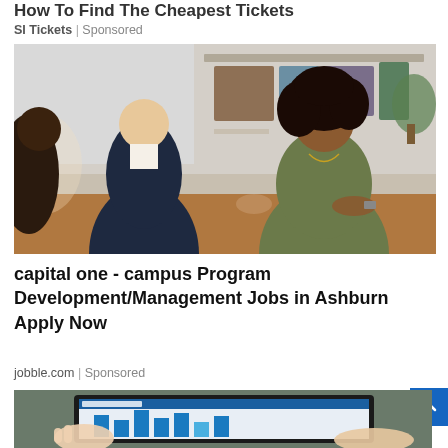How To Find The Cheapest Tickets
SI Tickets | Sponsored
[Figure (photo): Three people in a business meeting/interview setting: a woman with curly hair in a khaki top facing two men in business attire, seated at a table with bookshelves in the background.]
capital one - campus Program Development/Management Jobs in Ashburn Apply Now
jobble.com | Sponsored
[Figure (photo): Hands holding a tablet displaying a bar chart/dashboard with blue and white interface.]